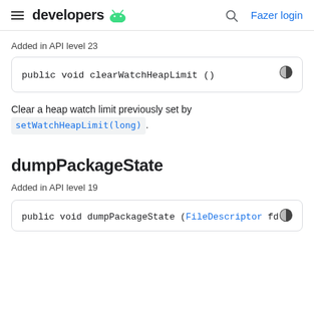developers | Fazer login
Added in API level 23
public void clearWatchHeapLimit ()
Clear a heap watch limit previously set by setWatchHeapLimit(long).
dumpPackageState
Added in API level 19
public void dumpPackageState (FileDescriptor fd